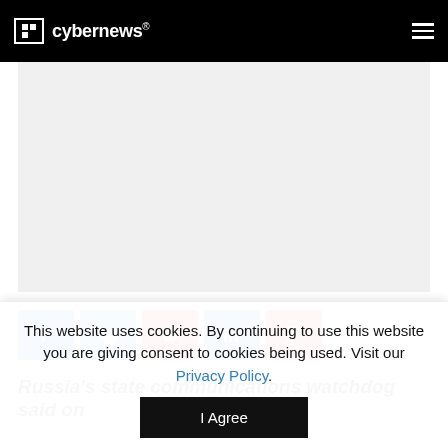cybernews®
[Figure (other): Gray advertisement/content placeholder rectangle]
[Figure (infographic): Social share buttons: Facebook (blue), Twitter (blue), Reddit (orange-red), LinkedIn (blue), Flipboard (red)]
Russia's state communications watchdog said on
This website uses cookies. By continuing to use this website you are giving consent to cookies being used. Visit our Privacy Policy.
I Agree